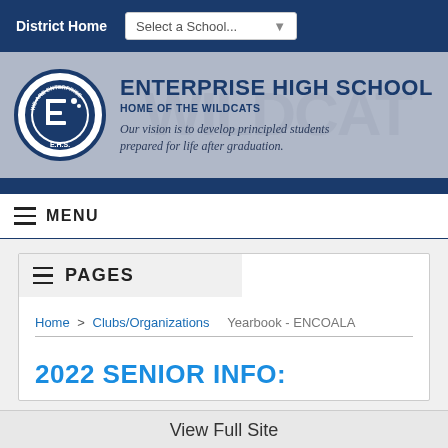District Home | Select a School...
ENTERPRISE HIGH SCHOOL
HOME OF THE WILDCATS
Our vision is to develop principled students prepared for life after graduation.
MENU
PAGES
Home > Clubs/Organizations    Yearbook - ENCOALA
2022 SENIOR INFO:
View Full Site